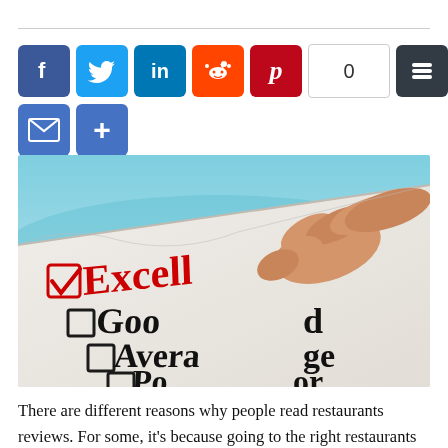[Figure (infographic): Row of social media sharing buttons: Facebook (blue), Twitter (blue bird), LinkedIn (blue 'in'), Reddit (orange alien), Pinterest (red P), share count showing 0, Buffer (dark), Gmail (red M), Print (green printer), Email (blue envelope), More (blue plus)]
[Figure (photo): Close-up photo of a hand pointing to a checkbox survey/form showing 'Excellent' checked in red, and unchecked options for Good, Average, Poor below it]
There are different reasons why people read restaurants reviews. For some, it's because going to the right restaurants is good for their social lives, while for others it's